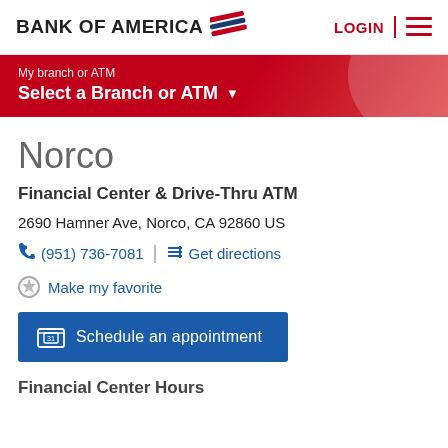BANK OF AMERICA
My branch or ATM
Select a Branch or ATM
Norco
Financial Center & Drive-Thru ATM
2690 Hamner Ave, Norco, CA 92860 US
(951) 736-7081   Get directions
Make my favorite
Schedule an appointment
Financial Center Hours